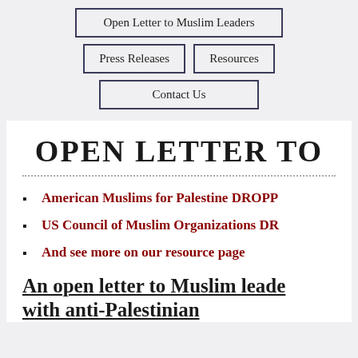Open Letter to Muslim Leaders
Press Releases
Resources
Contact Us
OPEN LETTER TO
American Muslims for Palestine DROPP
US Council of Muslim Organizations DR
And see more on our resource page
An open letter to Muslim leade with anti-Palestinian